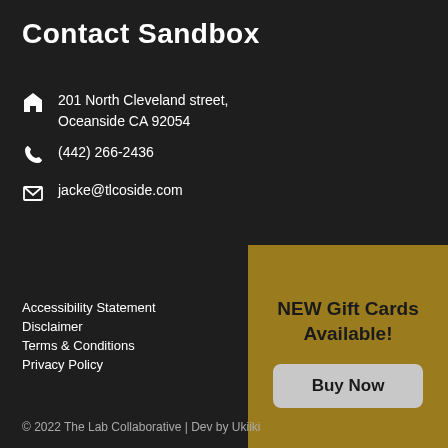Contact Sandbox
201 North Cleveland street, Oceanside CA 92054
(442) 266-2436
jacke@tlcoside.com
[Figure (infographic): Gold/yellow banner with text 'NEW Gift Cards Available!' and a Buy Now button]
Accessibility Statement
Disclaimer
Terms & Conditions
Privacy Policy
© 2022 The Lab Collaborative | Dev by Ukiiki